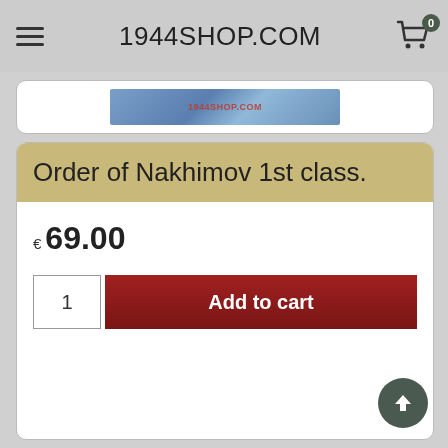1944SHOP.COM
[Figure (screenshot): Partial product image banner for 1944shop.com]
Order of Nakhimov 1st class.
€ 69.00
1  Add to cart